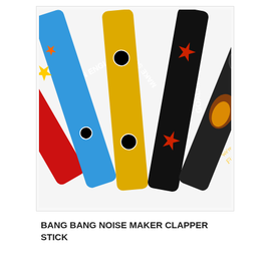[Figure (photo): Five inflatable bang bang clapper sticks fanned out. From left to right: red stick with 'C'MON ENGLAND' text in white, light blue stick with 'MAKE SOME NOISE' in white with star and football graphics, gold/yellow stick with 'GOAL!!!!' and football graphics, black stick with 'BANG BANG BANG' in white with red star graphics, and a black stick with a football fire graphic and 'We're on Fire' text.]
BANG BANG NOISE MAKER CLAPPER STICK